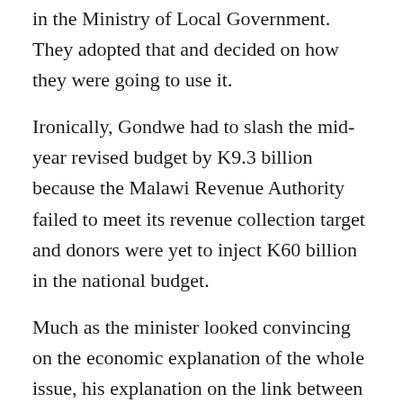in the Ministry of Local Government. They adopted that and decided on how they were going to use it.
Ironically, Gondwe had to slash the mid-year revised budget by K9.3 billion because the Malawi Revenue Authority failed to meet its revenue collection target and donors were yet to inject K60 billion in the national budget.
Much as the minister looked convincing on the economic explanation of the whole issue, his explanation on the link between the funding and suspected reward, for rejecting electoral reforms bills, to DPP and United Democratic Front (UDF) as well as some People's Party (PP) and some independent MPs was far from convincing.
Gondwe insisted that the original list included all political parties, and dismissed that what he was doing was fire-fighting.
“For the K40 million falling shot, but I have said This is